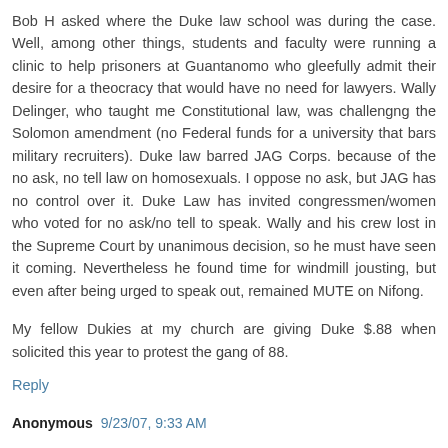Bob H asked where the Duke law school was during the case. Well, among other things, students and faculty were running a clinic to help prisoners at Guantanomo who gleefully admit their desire for a theocracy that would have no need for lawyers. Wally Delinger, who taught me Constitutional law, was challengng the Solomon amendment (no Federal funds for a university that bars military recruiters). Duke law barred JAG Corps. because of the no ask, no tell law on homosexuals. I oppose no ask, but JAG has no control over it. Duke Law has invited congressmen/women who voted for no ask/no tell to speak. Wally and his crew lost in the Supreme Court by unanimous decision, so he must have seen it coming. Nevertheless he found time for windmill jousting, but even after being urged to speak out, remained MUTE on Nifong.
My fellow Dukies at my church are giving Duke $.88 when solicited this year to protest the gang of 88.
Reply
Anonymous 9/23/07, 9:33 AM